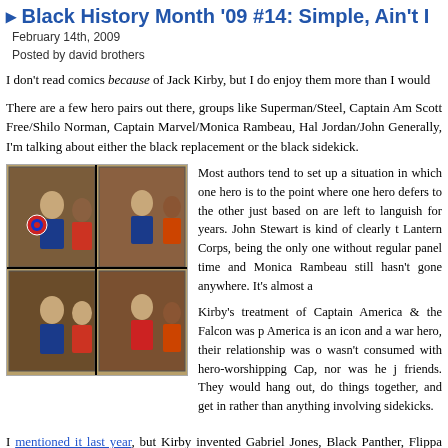Black History Month '09 #14: Simple, Ain't It
February 14th, 2009
Posted by david brothers
I don't read comics because of Jack Kirby, but I do enjoy them more than I would
There are a few hero pairs out there, groups like Superman/Steel, Captain Am Scott Free/Shilo Norman, Captain Marvel/Monica Rambeau, Hal Jordan/John Generally, I'm talking about either the black replacement or the black sidekick.
[Figure (illustration): Comic book panels showing Captain America and the Falcon in action]
Most authors tend to set up a situation in which one hero is to the point where one hero defers to the other just based on are left to languish for years. John Stewart is kind of clearly t Lantern Corps, being the only one without regular panel time and Monica Rambeau still hasn't gone anywhere. It's almost a
Kirby's treatment of Captain America & the Falcon was p America is an icon and a war hero, their relationship was o wasn't consumed with hero-worshipping Cap, nor was he j friends. They would hang out, do things together, and get in rather than anything involving sidekicks.
I mentioned it last year, but Kirby invented Gabriel Jones, Black Panther, Flippa Princess Zanda, and Mr. Miracle over the course of his career. I'm sure that h alone are impressive. What Kirby did was push forward a diverse cast of charac he wanted to tell, and those stories weren't all-white.
In an email, Tucker Stone from The Factual Opinion said this to me:
Wouldn't it be better if you hired a writer who pitched a black story because th flat out refuse to believe that there's nobody with one. There's a million do Power Girl. There's somebody with a black Firestorm story. Wouldn't you just A point where you say, hey, this guy is black so fucking what. I have a story I guy's black now. Figure it out and make it work.